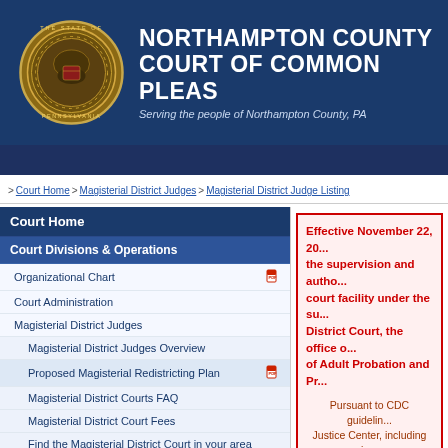[Figure (logo): Northampton County Court of Common Pleas header banner with Pennsylvania state seal on the left and court name and tagline on the right, white text on dark blue background]
NORTHAMPTON COUNTY COURT OF COMMON PLEAS
Serving the people of Northampton County, PA
> Court Home > Magisterial District Judges > Magisterial District Judge Listing
Court Home
Court Divisions & Operations
Organizational Chart
Court Administration
Magisterial District Judges
Magisterial District Judges Overview
Proposed Magisterial Redistricting Plan
Magisterial District Courts FAQ
Magisterial District Court Fees
Find the Magisterial District Court in your area
List all Magisterial District Judges
Adult Probation
Effective November 22, 20... the supervision and autho... court facility under the su... District Court, the office o... of Adult Probation and Pr...
Pursuant to CDC guidelin... Justice Center, including ju... status. Irrespective of vacci... Juvenile Justic...